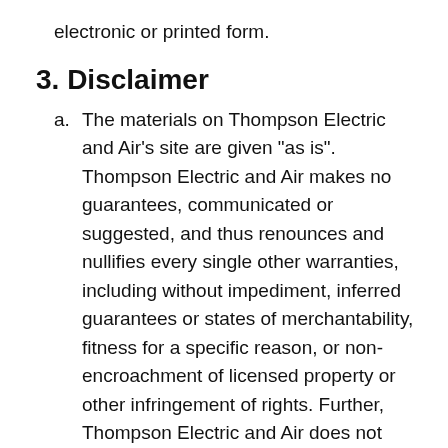electronic or printed form.
3. Disclaimer
a. The materials on Thompson Electric and Air's site are given "as is". Thompson Electric and Air makes no guarantees, communicated or suggested, and thus renounces and nullifies every single other warranties, including without impediment, inferred guarantees or states of merchantability, fitness for a specific reason, or non-encroachment of licensed property or other infringement of rights. Further, Thompson Electric and Air does not warrant or make any